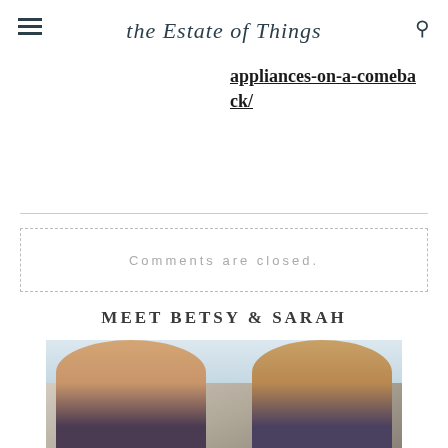the Estate of Things
appliances-on-a-comeback/
Comments are closed.
MEET BETSY & SARAH
[Figure (photo): Photo of two women (Betsy and Sarah) smiling together, heads close, light background]